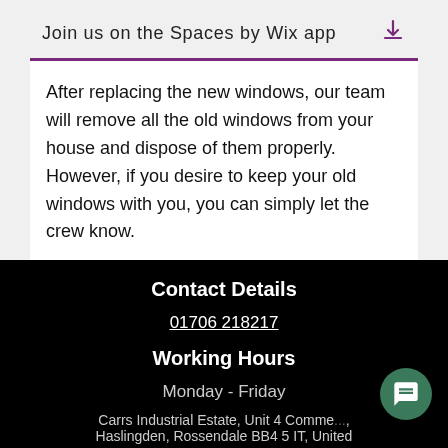Join us on the Spaces by Wix app
After replacing the new windows, our team will remove all the old windows from your house and dispose of them properly. However, if you desire to keep your old windows with you, you can simply let the crew know.
Contact Details
01706 218217
Working Hours
Monday - Friday
Carrs Industrial Estate, Unit 4 Commere..., Haslingden, Rossendale BB4 5 IT, United